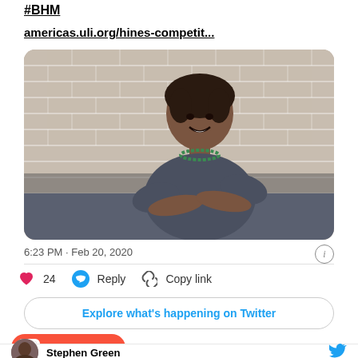#BHM
americas.uli.org/hines-competit...
[Figure (photo): Woman with braided hair, green necklace, grey top, arms crossed, smiling in front of a brick wall]
6:23 PM · Feb 20, 2020
24
Reply
Copy link
Explore what's happening on Twitter
Support me
Stephen Green